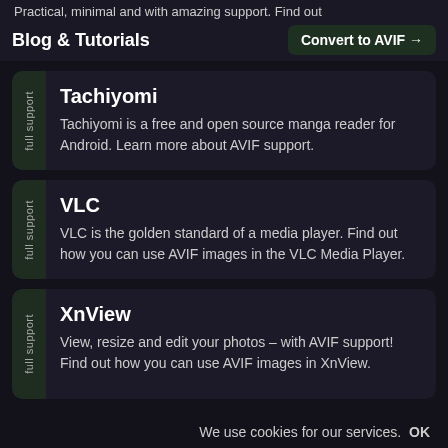Practical, minimal and with amazing support. Find out
Blog & Tutorials | Convert to AVIF →
Tachiyomi – full support. Tachiyomi is a free and open source manga reader for Android. Learn more about AVIF support.
VLC – full support. VLC is the golden standard of a media player. Find out how you can use AVIF images in the VLC Media Player.
XnView – full support. View, resize and edit your photos – with AVIF support! Find out how you can use AVIF images in XnView.
We use cookies for our services. OK